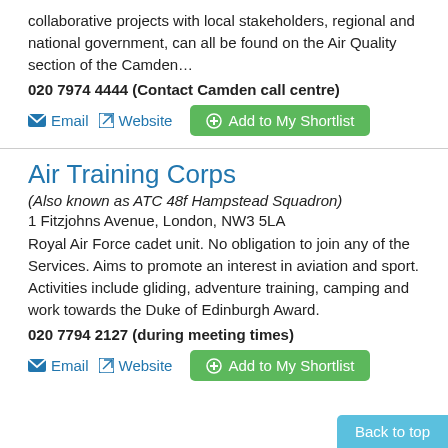collaborative projects with local stakeholders, regional and national government, can all be found on the Air Quality section of the Camden…
020 7974 4444 (Contact Camden call centre)
Email  Website  + Add to My Shortlist
Air Training Corps
(Also known as ATC 48f Hampstead Squadron)
1 Fitzjohns Avenue, London, NW3 5LA
Royal Air Force cadet unit. No obligation to join any of the Services. Aims to promote an interest in aviation and sport. Activities include gliding, adventure training, camping and work towards the Duke of Edinburgh Award.
020 7794 2127 (during meeting times)
Email  Website  + Add to My Shortlist
Back to top